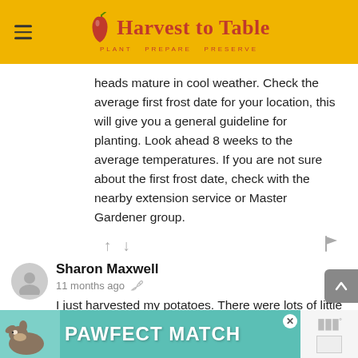Harvest to Table — PLANT PREPARE PRESERVE
heads mature in cool weather. Check the average first frost date for your location, this will give you a general guideline for planting. Look ahead 8 weeks to the average temperatures. If you are not sure about the first frost date, check with the nearby extension service or Master Gardener group.
Sharon Maxwell
11 months ago
I just harvested my potatoes. There were lots of little tiny ones, about 1/2 inch in diameter. Can I use these as seed potatoes to replant the bed or do I need to use larger potatoes that I cut up?
[Figure (other): Advertisement banner: PAWFECT MATCH with a dog image on teal background]